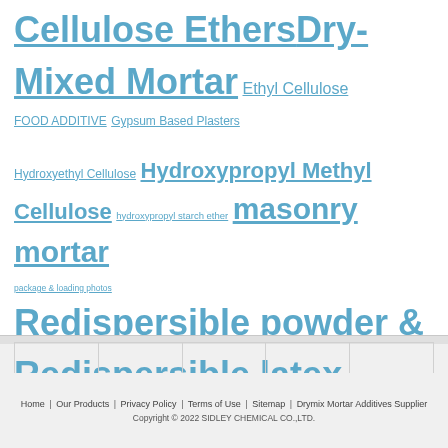Cellulose Ethers Dry-Mixed Mortar Ethyl Cellulose FOOD ADDITIVE Gypsum Based Plasters Hydroxyethyl Cellulose Hydroxypropyl Methyl Cellulose hydroxypropyl starch ether masonry mortar package & loading photos Redispersible powder & Redispersible latex powder Sodium CarboxyMethylCellulose (CMC) Tile Adhesive & Tile Grouts Гидроксиэтилцеллюлозой Натрий Карбоксиметилцеллюлоза этилцеллюлоза
Home | Our Products | Privacy Policy | Terms of Use | Sitemap | Drymix Mortar Additives Supplier Copyright © 2022 SIDLEY CHEMICAL CO.,LTD.